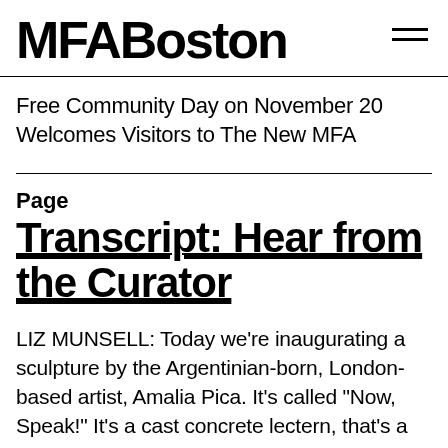MFABoston
Free Community Day on November 20 Welcomes Visitors to The New MFA
Page
Transcript: Hear from the Curator
LIZ MUNSELL: Today we're inaugurating a sculpture by the Argentinian-born, London-based artist, Amalia Pica. It's called "Now, Speak!" It's a cast concrete lectern, that's a